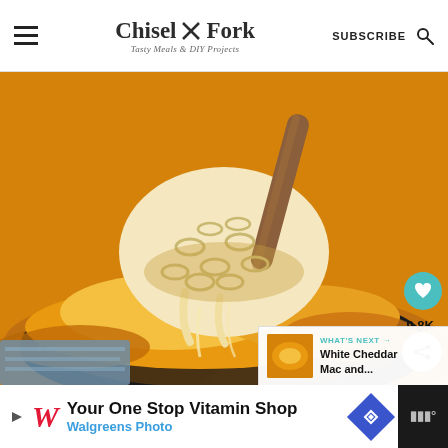Chisel × Fork — Tasty Meals & DIY Projects | SUBSCRIBE
[Figure (photo): Close-up photo of creamy baked macaroni and cheese being lifted with a wooden spoon from a cast iron skillet, with golden browned cheese on top]
9.8K
WHAT'S NEXT → White Cheddar Mac and...
Your One Stop Vitamin Shop
Walgreens Photo